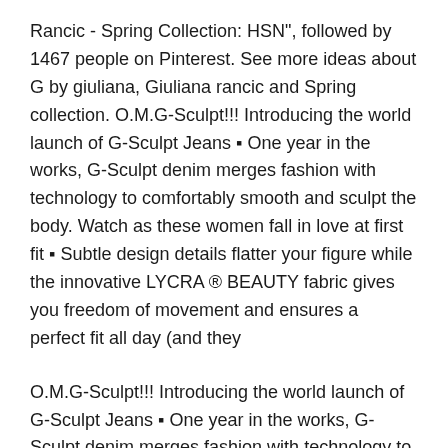Rancic - Spring Collection: HSN", followed by 1467 people on Pinterest. See more ideas about G by giuliana, Giuliana rancic and Spring collection. O.M.G-Sculpt!!! Introducing the world launch of G-Sculpt Jeans ▪ One year in the works, G-Sculpt denim merges fashion with technology to comfortably smooth and sculpt the body. Watch as these women fall in love at first fit ▪ Subtle design details flatter your figure while the innovative LYCRA ® BEAUTY fabric gives you freedom of movement and ensures a perfect fit all day (and they
O.M.G-Sculpt!!! Introducing the world launch of G-Sculpt Jeans ▪ One year in the works, G-Sculpt denim merges fashion with technology to comfortably smooth and sculpt the body. Watch as these women fall in love at first fit ▪ Subtle design details flatter your figure while the innovative LYCRA ® BEAUTY fabric gives you freedom of movement and ensures a perfect fit all day (and they G By Giuliana Rancic Women